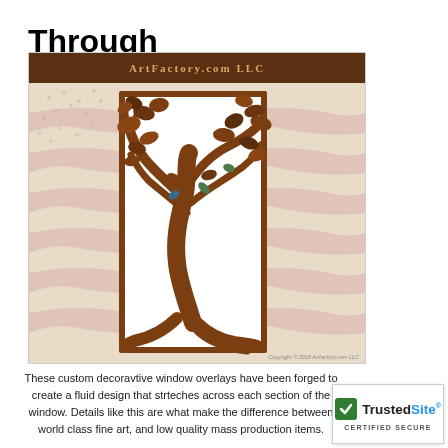Through Heirlooms
[Figure (photo): ArtFactory.com LLC product image showing a decorative metal window overlay with a tree design, forged in brown/rust colored metal, framed in a rectangular panel. Background shows faded American flag stripes and stars. Header bar reads ArtFactory.com LLC. Copyright 2018 Artfactory.com LLC.]
These custom decoravtive window overlays have been forged to create a fluid design that strteches across each section of the window. Details like this are what make the difference between world class fine art, and low quality mass production items.
[Figure (logo): TrustedSite Certified Secure badge with green checkmark]